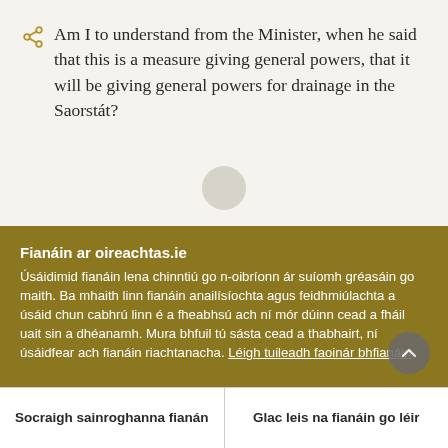Am I to understand from the Minister, when he said that this is a measure giving general powers, that it will be giving general powers for drainage in the Saorstát?
Fianáin ar oireachtas.ie
Úsáidimid fianáin lena chinntiú go n-oibríonn ár suíomh gréasáin go maith. Ba mhaith linn fianáin anailísíochta agus feidhmiúlachta a úsáid chun cabhrú linn é a fheabhsú ach ní mór dúinn cead a fháil uait sin a dhéanamh. Mura bhfuil tú sásta cead a thabhairt, ní úsáidfear ach fianáin riachtanacha. Léigh tuileadh faoinár bhfianáin
Socraigh sainroghanna fianán
Glac leis na fianáin go léir